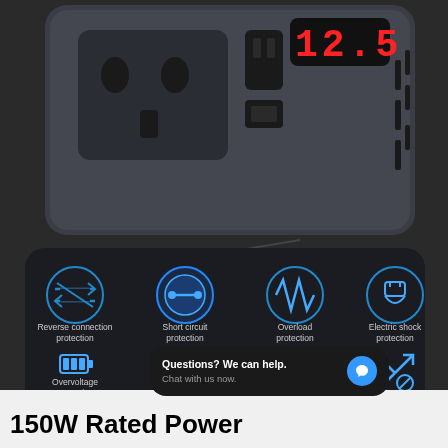[Figure (photo): Power inverter product image showing a dark grey/black device with AC outlets (universal and standard), USB port, and LED digital display showing '12.5'. Below the device is an infographic panel on dark background showing 8 protection features with blue icons: Reverse connection protection, Short circuit protection, Overload protection, Electric shock protection, Overvoltage protection, Undervoltage protection, High temperature protection, Impact protection.]
Questions? We can help. Chat with us now.
150W Rated Power